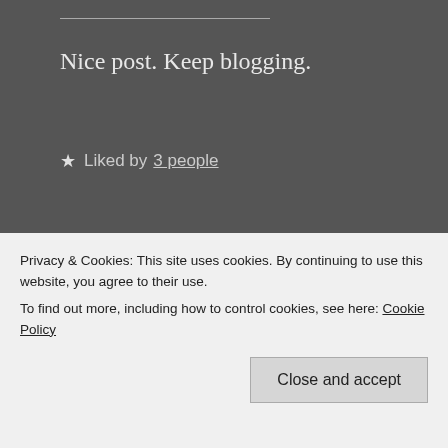Nice post. Keep blogging.
★ Liked by 3 people
[Figure (logo): Circular dark red logo with 'BB' letters and 'Bubba's Bubble' text]
A.S.
December 17, 2019    Reply
Thank you, Manoj. I am glad that you like it.
Privacy & Cookies: This site uses cookies. By continuing to use this website, you agree to their use.
To find out more, including how to control cookies, see here: Cookie Policy
Close and accept